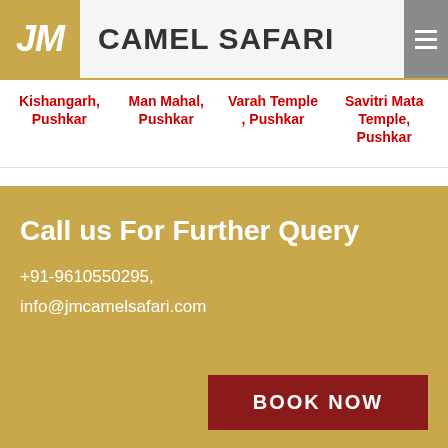JM CAMEL SAFARI
Kishangarh, Pushkar
Man Mahal, Pushkar
Varah Temple, Pushkar
Savitri Mata Temple, Pushkar
Call us For Further Query
+91-9610550295,
info@jmcamelsafari.com
BOOK NOW